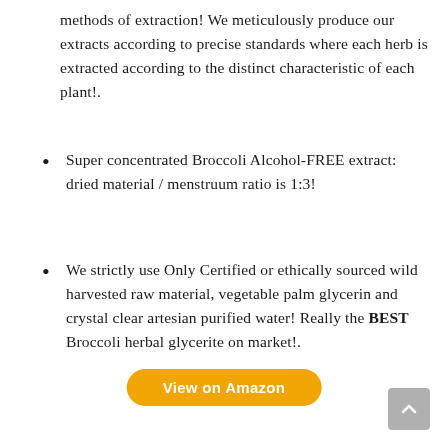methods of extraction! We meticulously produce our extracts according to precise standards where each herb is extracted according to the distinct characteristic of each plant!.
Super concentrated Broccoli Alcohol-FREE extract: dried material / menstruum ratio is 1:3!
We strictly use Only Certified or ethically sourced wild harvested raw material, vegetable palm glycerin and crystal clear artesian purified water! Really the BEST Broccoli herbal glycerite on market!.
View on Amazon